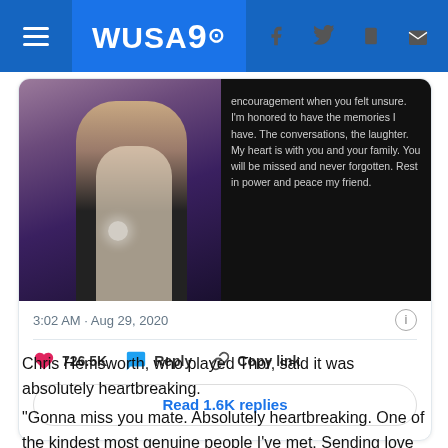WUSA9
[Figure (screenshot): Screenshot of a tweet showing a photo of two people at an event on the left and a dark background with white text on the right. The tweet metadata shows 3:02 AM · Aug 29, 2020. There are 726.5K likes, Reply and Copy link actions, and a 'Read 1.6K replies' button. The text reads: 'encouragement when you felt unsure. I'm honored to have the memories I have. The conversations, the laughter. My heart is with you and your family. You will be missed and never forgotten. Rest in power and peace my friend.']
Chris Hemsworth, who played Thor, said it was absolutely heartbreaking.
"Gonna miss you mate. Absolutely heartbreaking. One of the kindest most genuine people I've met. Sending love and support to all the family xo RIP" Hemsworth posted